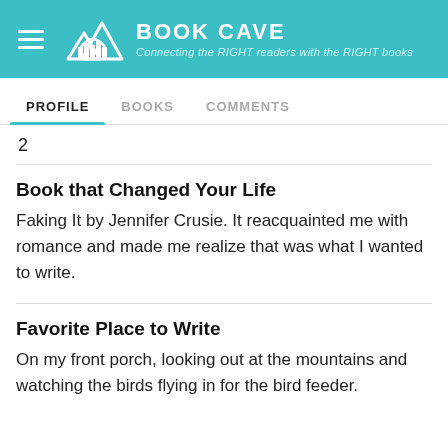BOOK CAVE — Connecting the RIGHT readers with the RIGHT books
PROFILE | BOOKS | COMMENTS
2
Book that Changed Your Life
Faking It by Jennifer Crusie. It reacquainted me with romance and made me realize that was what I wanted to write.
Favorite Place to Write
On my front porch, looking out at the mountains and watching the birds flying in for the bird feeder.